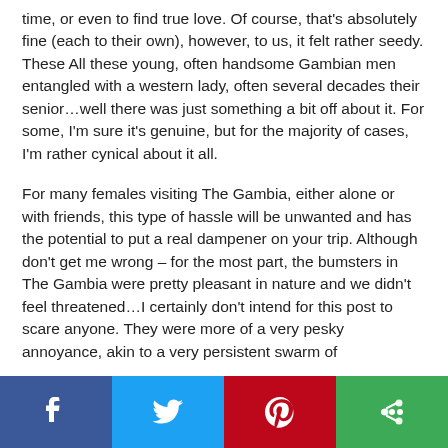time, or even to find true love. Of course, that's absolutely fine (each to their own), however, to us, it felt rather seedy. These All these young, often handsome Gambian men entangled with a western lady, often several decades their senior…well there was just something a bit off about it. For some, I'm sure it's genuine, but for the majority of cases, I'm rather cynical about it all.
For many females visiting The Gambia, either alone or with friends, this type of hassle will be unwanted and has the potential to put a real dampener on your trip. Although don't get me wrong – for the most part, the bumsters in The Gambia were pretty pleasant in nature and we didn't feel threatened…I certainly don't intend for this post to scare anyone. They were more of a very pesky annoyance, akin to a very persistent swarm of
[Figure (infographic): Social media sharing bar with four buttons: Facebook (blue), Twitter (light blue), Pinterest (red), More/share (green)]